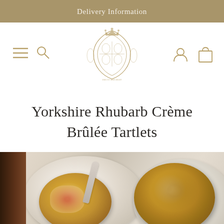Delivery Information
[Figure (logo): Royal crest / coat of arms logo in gold with navigation icons: hamburger menu, search, user account, and shopping bag]
Yorkshire Rhubarb Crème Brûlée Tartlets
[Figure (photo): Overhead food photography showing two Yorkshire Rhubarb Crème Brûlée Tartlets on ornate decorative glass plates, with a spoon, caramelised sugar topping visible, pink rhubarb filling showing on the cut tartlet on the left, and a dark wooden element on the left edge]